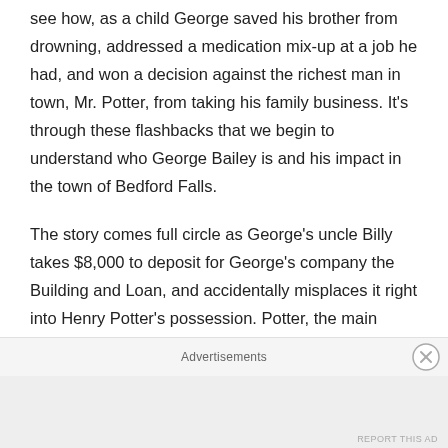see how, as a child George saved his brother from drowning, addressed a medication mix-up at a job he had, and won a decision against the richest man in town, Mr. Potter, from taking his family business. It's through these flashbacks that we begin to understand who George Bailey is and his impact in the town of Bedford Falls.
The story comes full circle as George's uncle Billy takes $8,000 to deposit for George's company the Building and Loan, and accidentally misplaces it right into Henry Potter's possession. Potter, the main antagonist of George's life, seizes the opportunity to hide the money and claim a scandal against George and his company,
Advertisements